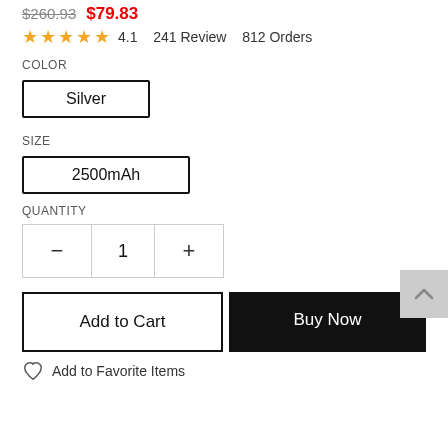$260.93  $79.83
4.1  241 Review  812 Orders
COLOR
Silver
SIZE
2500mAh
QUANTITY
−  1  +
Add to Cart
Buy Now
Add to Favorite Items